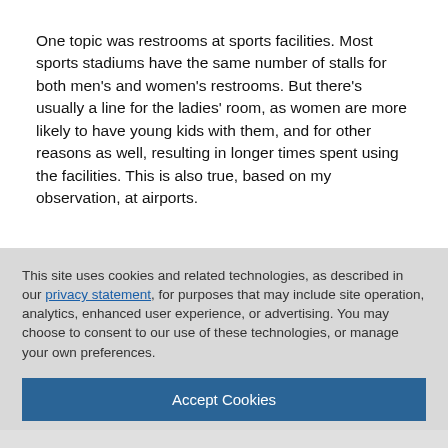One topic was restrooms at sports facilities. Most sports stadiums have the same number of stalls for both men's and women's restrooms. But there's usually a line for the ladies' room, as women are more likely to have young kids with them, and for other reasons as well, resulting in longer times spent using the facilities. This is also true, based on my observation, at airports.
This site uses cookies and related technologies, as described in our privacy statement, for purposes that may include site operation, analytics, enhanced user experience, or advertising. You may choose to consent to our use of these technologies, or manage your own preferences.
Accept Cookies
More Information
Privacy Policy | Powered by: TrustArc